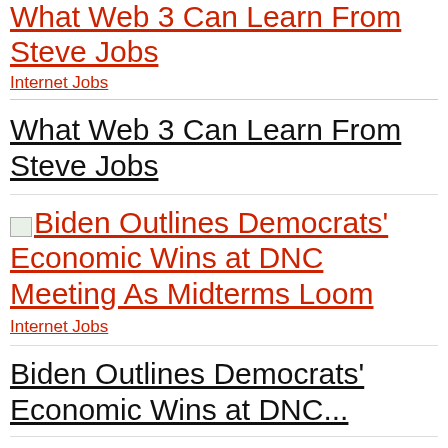What Web 3 Can Learn From Steve Jobs
Internet Jobs
What Web 3 Can Learn From Steve Jobs
[Figure (illustration): Small thumbnail image placeholder for Biden article]
Biden Outlines Democrats' Economic Wins at DNC Meeting As Midterms Loom
Internet Jobs
Biden Outlines Democrats' Economic Wins at DNC...
[Figure (illustration): Small thumbnail image placeholder at bottom]